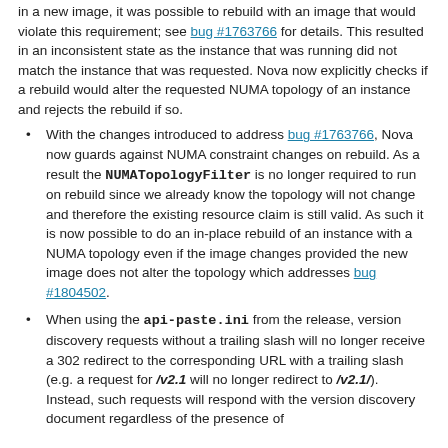in a new image, it was possible to rebuild with an image that would violate this requirement; see bug #1763766 for details. This resulted in an inconsistent state as the instance that was running did not match the instance that was requested. Nova now explicitly checks if a rebuild would alter the requested NUMA topology of an instance and rejects the rebuild if so.
With the changes introduced to address bug #1763766, Nova now guards against NUMA constraint changes on rebuild. As a result the NUMATopologyFilter is no longer required to run on rebuild since we already know the topology will not change and therefore the existing resource claim is still valid. As such it is now possible to do an in-place rebuild of an instance with a NUMA topology even if the image changes provided the new image does not alter the topology which addresses bug #1804502.
When using the api-paste.ini from the release, version discovery requests without a trailing slash will no longer receive a 302 redirect to the corresponding URL with a trailing slash (e.g. a request for /v2.1 will no longer redirect to /v2.1/). Instead, such requests will respond with the version discovery document regardless of the presence of